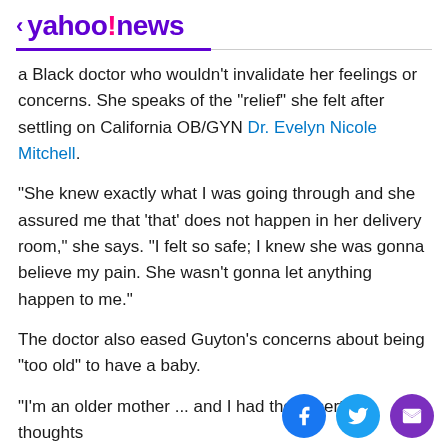< yahoo!news
a Black doctor who wouldn't invalidate her feelings or concerns. She speaks of the "relief" she felt after settling on California OB/GYN Dr. Evelyn Nicole Mitchell.
"She knew exactly what I was going through and she assured me that 'that' does not happen in her delivery room," she says. "I felt so safe; I knew she was gonna believe my pain. She wasn't gonna let anything happen to me."
The doctor also eased Guyton's concerns about being "too old" to have a baby.
"I'm an older mother ... and I had these certain thoughts